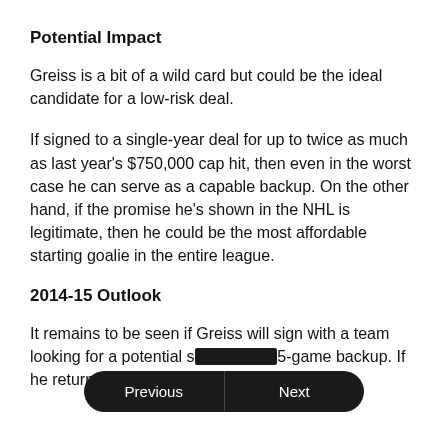Potential Impact
Greiss is a bit of a wild card but could be the ideal candidate for a low-risk deal.
If signed to a single-year deal for up to twice as much as last year's $750,000 cap hit, then even in the worst case he can serve as a capable backup. On the other hand, if the promise he's shown in the NHL is legitimate, then he could be the most affordable starting goalie in the entire league.
2014-15 Outlook
It remains to be seen if Greiss will sign with a team looking for a potential s[…]5-game backup. If he returns to Phoenix, it will obviously be the